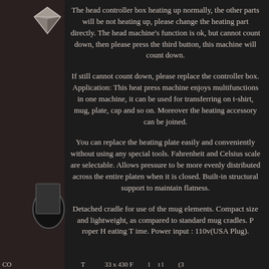The head controller box heating up normally, the other parts will be not heating up, please change the heating part directly. The head machine's function is ok, but cannot count down, then please press the third button, this machine will count down.
If still cannot count down, please replace the controller box. Application: This heat press machine enjoys multifunctions in one machine, it can be used for transferring on t-shirt, mug, plate, cap and so on. Moreover the heating accessory can be joined.
You can replace the heating plate easily and conveniently without using any special tools. Fahrenheit and Celsius scale are selectable. Allows pressure to be more evenly distributed across the entire platen when it is closed. Built-in structural support to maintain flatness.
Detached cradle for use of the mug elements. Compact size and lightweight, as compared to standard mug cradles. P roper H eating T ime. Power input : 110v(USA Plug).
CO          T            33 x 430 F         l     t l           (3